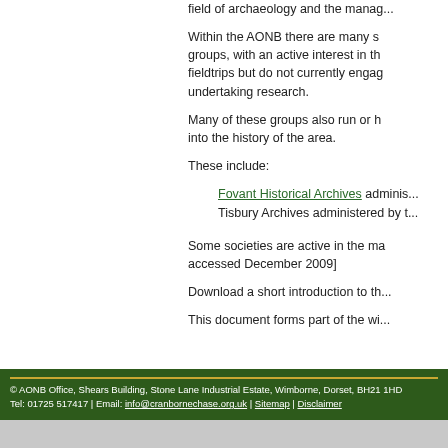field of archaeology and the mana...
Within the AONB there are many s... groups, with an active interest in th... fieldtrips but do not currently enga... undertaking research.
Many of these groups also run or h... into the history of the area.
These include:
Fovant Historical Archives adminis...
Tisbury Archives administered by t...
Some societies are active in the ma... accessed December 2009]
Download a short introduction to th...
This document forms part of the wi...
© AONB Office, Shears Building, Stone Lane Industrial Estate, Wimborne, Dorset, BH21 1HD Tel: 01725 517417 | Email: info@cranbornechase.org.uk | Sitemap | Disclaimer